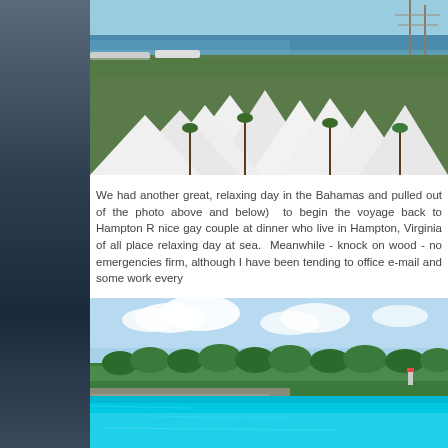[Figure (photo): Aerial view of a Bahamas marina/resort with white-roofed buildings, palm trees, boats docked at a harbor, and a tall sailing ship in the background]
We had another great, relaxing day in the Bahamas and pulled out of the photo above and below)  to begin the voyage back to Hampton R nice gay couple at dinner who live in Hampton, Virginia of all place relaxing day at sea.  Meanwhile - knock on wood - no emergencies firm, although I have been tending to office e-mail and some work every
[Figure (photo): Coastal view of the Bahamas showing a low shoreline with green trees, a lighthouse, and bright turquoise/blue water in the foreground]